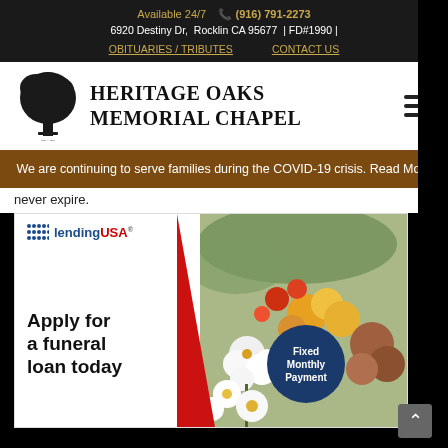Available 24/7  (916) 791-2273
6920 Destiny Dr,  Rocklin CA 95677  | FD#1990 |
OBITUARIES / TRIBUTES    CONTACT US
[Figure (logo): Heritage Oaks Memorial Chapel logo with tree icon and serif text]
We are continuing to serve families during the COVID-19 crisis. Read More
never expire.
[Figure (infographic): LendingUSA advertisement: Apply for a funeral loan today. Fixed Monthly Payment badge. Floral background image.]